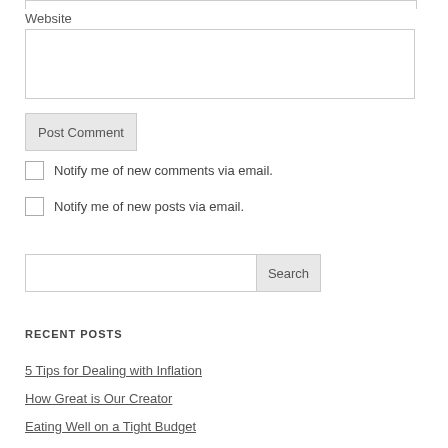Website
Post Comment
Notify me of new comments via email.
Notify me of new posts via email.
Search
RECENT POSTS
5 Tips for Dealing with Inflation
How Great is Our Creator
Eating Well on a Tight Budget